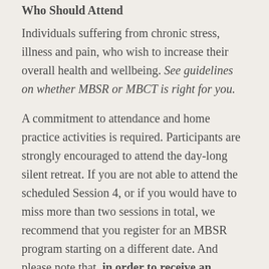Who Should Attend
Individuals suffering from chronic stress, illness and pain, who wish to increase their overall health and wellbeing. See guidelines on whether MBSR or MBCT is right for you.
A commitment to attendance and home practice activities is required. Participants are strongly encouraged to attend the day-long silent retreat. If you are not able to attend the scheduled Session 4, or if you would have to miss more than two sessions in total, we recommend that you register for an MBSR program starting on a different date. And please note that, in order to receive an insurance receipt, you must attend a minimum of six sessions.